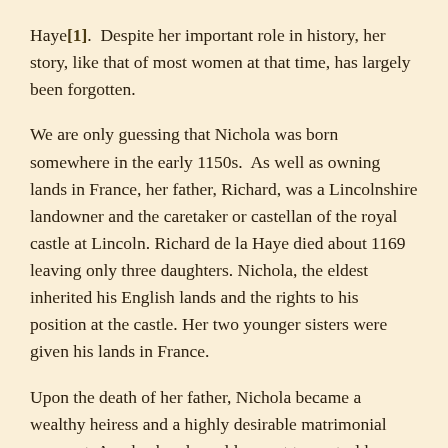Haye[1].  Despite her important role in history, her story, like that of most women at that time, has largely been forgotten.
We are only guessing that Nichola was born somewhere in the early 1150s.  As well as owning lands in France, her father, Richard, was a Lincolnshire landowner and the caretaker or castellan of the royal castle at Lincoln.  Richard de la Haye died about 1169 leaving only three daughters. Nichola, the eldest inherited his English lands and the rights to his position at the castle. Her two younger sisters were given his lands in France.
Upon the death of her father, Nichola became a wealthy heiress and a highly desirable matrimonial prospect.  Any husband would expect to control her lands and also assume the position of caste.  Her first husband died in 1178, leaving her with a daughter. She married again before 1185. Her second husband died in 1215. She...